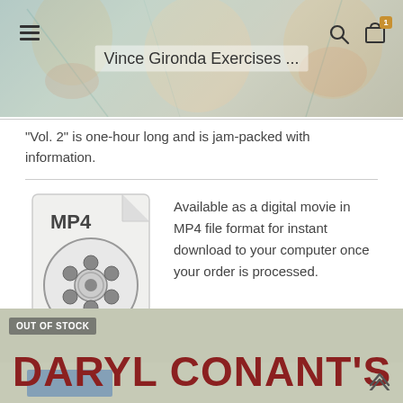Vince Gironda Exercises ...
"Vol. 2" is one-hour long and is jam-packed with information.
[Figure (illustration): MP4 file icon showing a film reel graphic with 'MP4' text label at top]
Available as a digital movie in MP4 file format for instant download to your computer once your order is processed.
The downloaded file can be read using media player software on most devices, phones, tablets & desktops.
[Figure (illustration): Bottom banner showing 'OUT OF STOCK' badge and large red text 'DARYL CONANT'S' on a muted green/grey background]